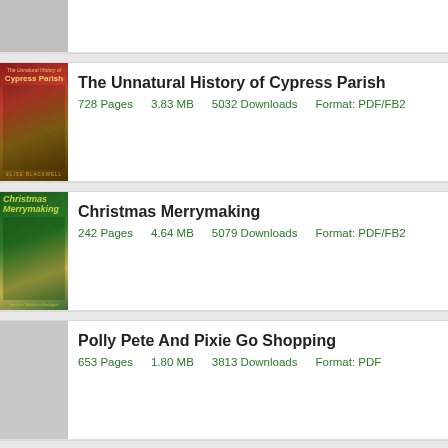[Figure (illustration): Partial book cover at top, cut off — gray placeholder]
The Unnatural History of Cypress Parish
728 Pages    3.83 MB    5032 Downloads    Format: PDF/FB2
[Figure (illustration): Christmas Merrymaking book cover — green with children and Christmas tree illustration]
Christmas Merrymaking
242 Pages    4.64 MB    5079 Downloads    Format: PDF/FB2
[Figure (illustration): Gray placeholder cover for Polly Pete And Pixie Go Shopping]
Polly Pete And Pixie Go Shopping
653 Pages    1.80 MB    3813 Downloads    Format: PDF
[Figure (illustration): Gray placeholder cover for Engineering communication]
Engineering communication